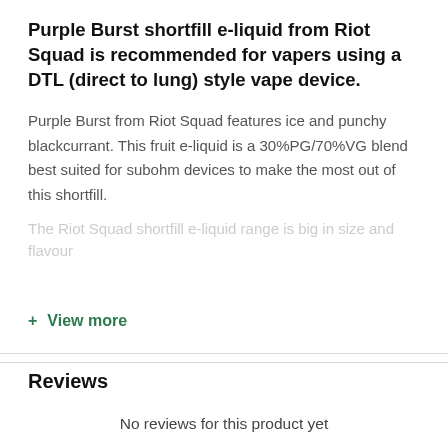Purple Burst shortfill e-liquid from Riot Squad is recommended for vapers using a DTL (direct to lung) style vape device.
Purple Burst from Riot Squad features ice and punchy blackcurrant. This fruit e-liquid is a 30%PG/70%VG blend best suited for subohm devices to make the most out of this shortfill.
The Riot Squad shortfill e-liquid range is big in size and flavour
+ View more
Reviews
No reviews for this product yet